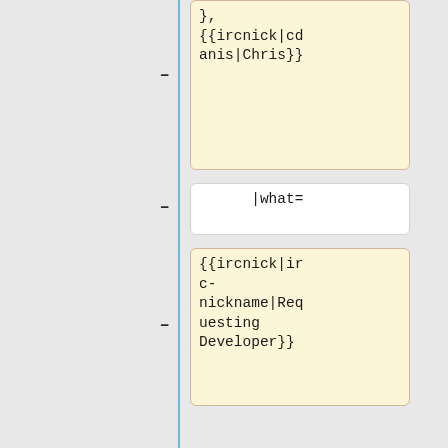},
{{ircnick|cdanis|Chris}}
|what=
{{ircnick|irc-nickname|Requesting Developer}}
* ''Gerrit link to Puppet change''
}}|
{{#invoke:Deployment schedule|row